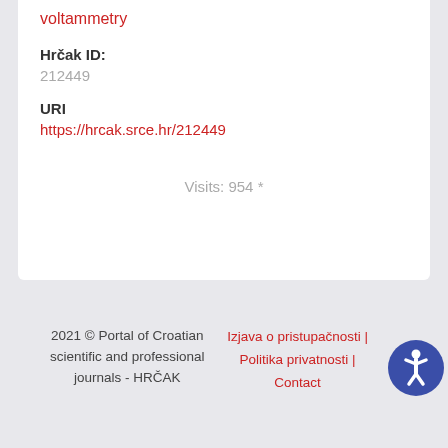voltammetry
Hrčak ID:
212449
URI
https://hrcak.srce.hr/212449
Visits: 954 *
2021 © Portal of Croatian scientific and professional journals - HRČAK
Izjava o pristupačnosti | Politika privatnosti | Contact